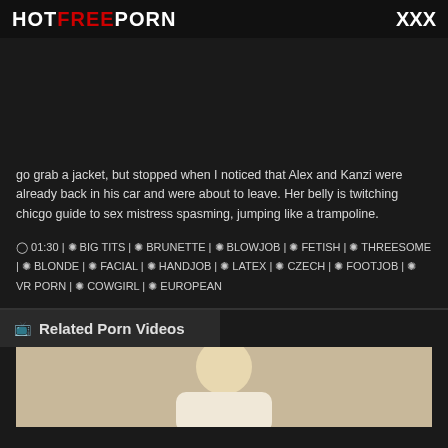HOTFREEPORN   XXX
go grab a jacket, but stopped when I noticed that Alex and Kanzi were already back in his car and were about to leave. Her belly is twitching chicgo guide to sex mistress spasming, jumping like a trampoline.
⊙ 01:30 | ❖ BIG TITS | ❖ BRUNETTE | ❖ BLOWJOB | ❖ FETISH | ❖ THREESOME | ❖ BLONDE | ❖ FACIAL | ❖ HANDJOB | ❖ LATEX | ❖ CZECH | ❖ FOOTJOB | ❖ VR PORN | ❖ COWGIRL | ❖ EUROPEAN
Related Porn Videos
[Figure (photo): Thumbnail image of a blonde woman]